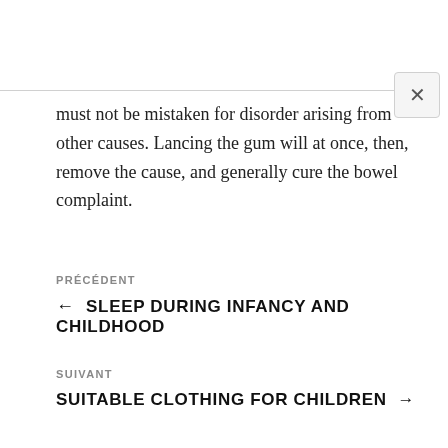must not be mistaken for disorder arising from other causes. Lancing the gum will at once, then, remove the cause, and generally cure the bowel complaint.
PRÉCÉDENT
← SLEEP DURING INFANCY AND CHILDHOOD
SUIVANT
SUITABLE CLOTHING FOR CHILDREN →